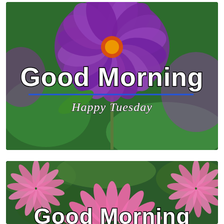[Figure (photo): Photo of a large purple zinnia flower with green bokeh background. Text overlay reads 'Good Morning' in bold white with black outline, a blue horizontal line underneath, then 'Happy Tuesday' in white italic serif font.]
[Figure (photo): Photo of pink daisy/gerbera flowers with green background. Text overlay at the bottom reads 'Good Morning' in bold white with black outline, partially cropped.]